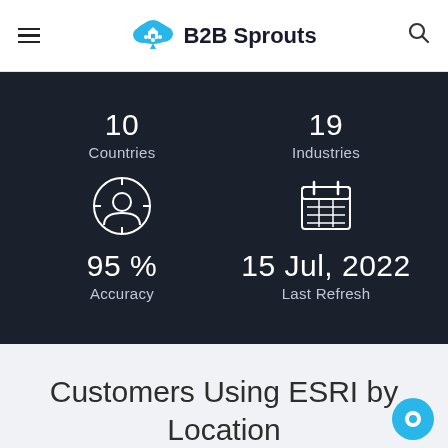B2B Sprouts
10
Countries
19
Industries
95 %
Accuracy
15 Jul, 2022
Last Refresh
Customers Using ESRI by Location